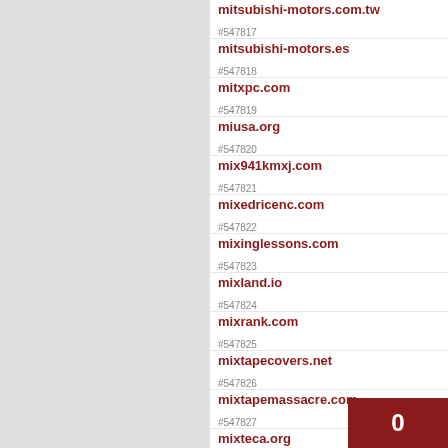#547817 mitsubishi-motors.com.tw
#547818 mitsubishi-motors.es
#547819 mitxpc.com
#547820 miusa.org
#547821 mix941kmxj.com
#547822 mixedricenc.com
#547823 mixinglessons.com
#547824 mixland.io
#547825 mixrank.com
#547826 mixtapecovers.net
#547827 mixtapemassacre.com
#547828 mixteca.org
#547829 mixthatdrink.com